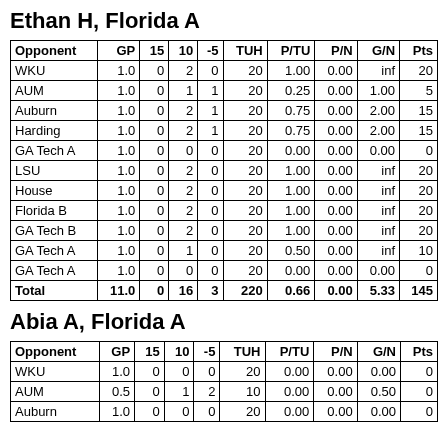Ethan H, Florida A
| Opponent | GP | 15 | 10 | -5 | TUH | P/TU | P/N | G/N | Pts |
| --- | --- | --- | --- | --- | --- | --- | --- | --- | --- |
| WKU | 1.0 | 0 | 2 | 0 | 20 | 1.00 | 0.00 | inf | 20 |
| AUM | 1.0 | 0 | 1 | 1 | 20 | 0.25 | 0.00 | 1.00 | 5 |
| Auburn | 1.0 | 0 | 2 | 1 | 20 | 0.75 | 0.00 | 2.00 | 15 |
| Harding | 1.0 | 0 | 2 | 1 | 20 | 0.75 | 0.00 | 2.00 | 15 |
| GA Tech A | 1.0 | 0 | 0 | 0 | 20 | 0.00 | 0.00 | 0.00 | 0 |
| LSU | 1.0 | 0 | 2 | 0 | 20 | 1.00 | 0.00 | inf | 20 |
| House | 1.0 | 0 | 2 | 0 | 20 | 1.00 | 0.00 | inf | 20 |
| Florida B | 1.0 | 0 | 2 | 0 | 20 | 1.00 | 0.00 | inf | 20 |
| GA Tech B | 1.0 | 0 | 2 | 0 | 20 | 1.00 | 0.00 | inf | 20 |
| GA Tech A | 1.0 | 0 | 1 | 0 | 20 | 0.50 | 0.00 | inf | 10 |
| GA Tech A | 1.0 | 0 | 0 | 0 | 20 | 0.00 | 0.00 | 0.00 | 0 |
| Total | 11.0 | 0 | 16 | 3 | 220 | 0.66 | 0.00 | 5.33 | 145 |
Abia A, Florida A
| Opponent | GP | 15 | 10 | -5 | TUH | P/TU | P/N | G/N | Pts |
| --- | --- | --- | --- | --- | --- | --- | --- | --- | --- |
| WKU | 1.0 | 0 | 0 | 0 | 20 | 0.00 | 0.00 | 0.00 | 0 |
| AUM | 0.5 | 0 | 1 | 2 | 10 | 0.00 | 0.00 | 0.50 | 0 |
| Auburn | 1.0 | 0 | 0 | 0 | 20 | 0.00 | 0.00 | 0.00 | 0 |